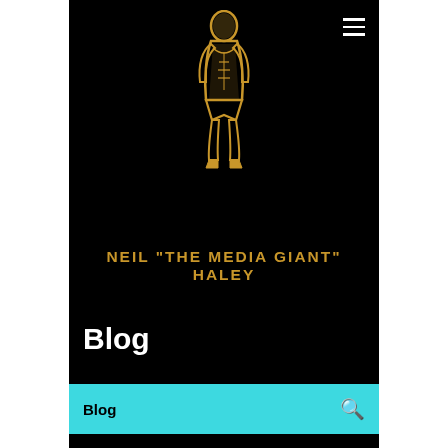[Figure (illustration): Golden muscular male figure/wrestler illustration centered at top of page on black background]
NEIL "THE MEDIA GIANT" HALEY
Blog
Blog
haleyn4 👑